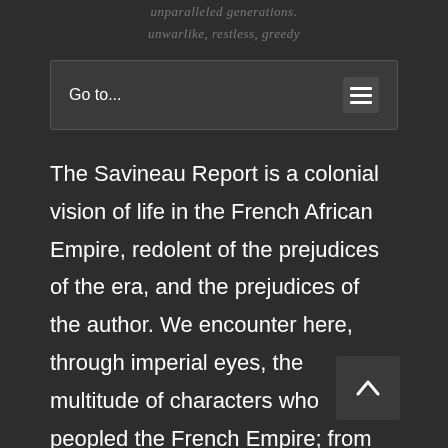unparalleled generations
unwarlike, restless, greedy
Go to...
The Savineau Report is a colonial vision of life in the French African Empire, redolent of the prejudices of the era, and the prejudices of the author. We encounter here, through imperial eyes, the multitude of characters who peopled the French Empire; from colonial agents, to missionaries, to doctors, to tribal chiefs, and